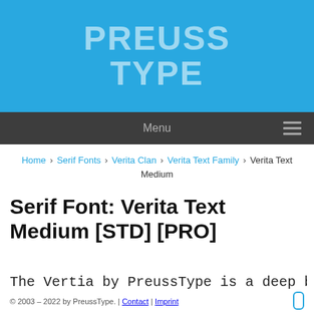[Figure (logo): Preuss Type logo: large bold white/translucent text reading PREUSS TYPE on a blue background]
Menu
Home › Serif Fonts › Verita Clan › Verita Text Family › Verita Text Medium
Serif Font: Verita Text Medium [STD] [PRO]
The Vertia by PreussType is a deep bow to the Diethelm
© 2003 – 2022 by PreussType. | Contact | Imprint